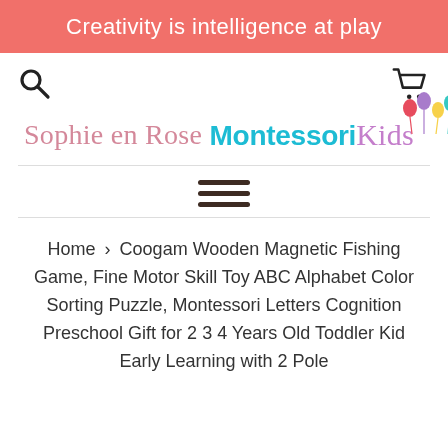Creativity is intelligence at play
[Figure (logo): Sophie en Rose script logo in pink]
[Figure (logo): Montessori Kids logo in teal and purple with balloon decorations]
Home > Coogam Wooden Magnetic Fishing Game, Fine Motor Skill Toy ABC Alphabet Color Sorting Puzzle, Montessori Letters Cognition Preschool Gift for 2 3 4 Years Old Toddler Kid Early Learning with 2 Pole